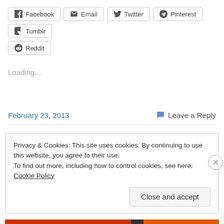Facebook
Email
Twitter
Pinterest
Tumblr
Reddit
Loading...
February 23, 2013
Leave a Reply
Mother-Led Weaning: How and
Privacy & Cookies: This site uses cookies. By continuing to use this website, you agree to their use.
To find out more, including how to control cookies, see here: Cookie Policy
Close and accept